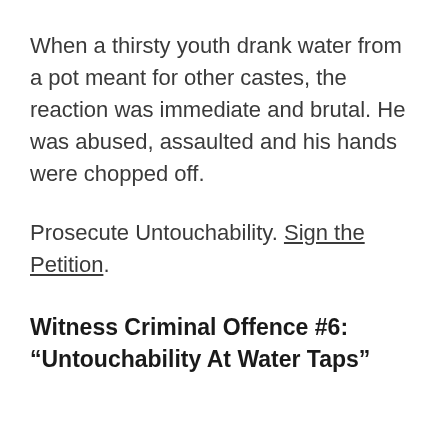When a thirsty youth drank water from a pot meant for other castes, the reaction was immediate and brutal. He was abused, assaulted and his hands were chopped off.
Prosecute Untouchability. Sign the Petition.
Witness Criminal Offence #6: “Untouchability At Water Taps”